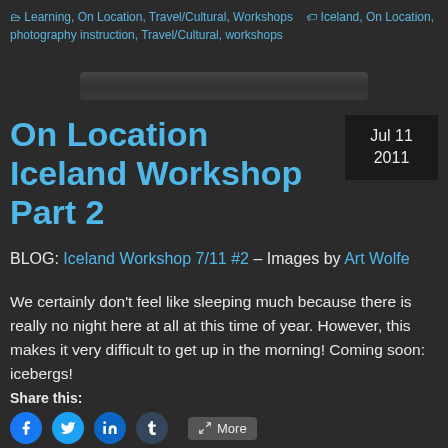Learning, On Location, Travel/Cultural, Workshops  Iceland, On Location, photography instruction, Travel/Cultural, workshops
[Figure (photo): Dark horizontal image bar, partially visible image of landscape]
On Location Iceland Workshop Part 2
Jul 11 2011
BLOG: Iceland Workshop 7/11 #2 – Images by Art Wolfe
We certainly don't feel like sleeping much because there is really no night here at all at this time of year. However, this makes it very difficult to get up in the morning! Coming soon: icebergs!
Share this: